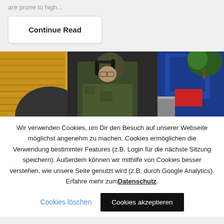are prone to high...
Continue Read
[Figure (photo): A man wearing headphones and camouflage clothing working near industrial/military equipment. The background shows yellow machinery on the left and a blue structure with a tree on the right.]
Wir verwenden Cookies, um Dir den Besuch auf unserer Webseite möglichst angenehm zu machen. Cookies ermöglichen die Verwendung bestimmter Features (z.B. Login für die nächste Sitzung speichern). Außerdem können wir mithilfe von Cookies besser verstehen, wie unsere Seite genutzt wird (z.B. durch Google Analytics). Erfahre mehr zum Datenschutz.
Cookies löschen
Cookies akzeptieren